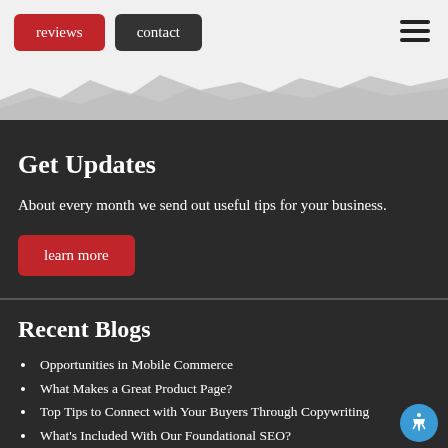reviews | contact
Get Updates
About every month we send out useful tips for your business.
learn more
Recent Blogs
Opportunities in Mobile Commerce
What Makes a Great Product Page?
Top Tips to Connect with Your Buyers Through Copywriting
What's Included With Our Foundational SEO?
Instagram Checkout: What You Need to Know